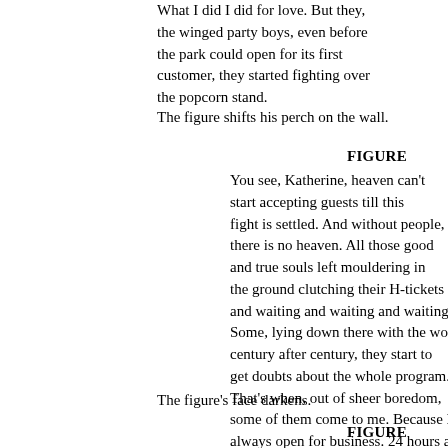What I did I did for love. But they, the winged party boys, even before the park could open for its first customer, they started fighting over the popcorn stand.
The figure shifts his perch on the wall.
FIGURE
You see, Katherine, heaven can't start accepting guests till this fight is settled. And without people, there is no heaven. All those good and true souls left mouldering in the ground clutching their H-tickets and waiting and waiting and waiting... Some, lying down there with the worms century after century, they start to get doubts about the whole program. That's when, out of sheer boredom, some of them come to me. Because I'm always open for business. 24 hours a day, seven days a week. Even on Christmas.
The figure's face darkens.
FIGURE
Some of the angels cheat. They sneak a few souls in to help with the fight.